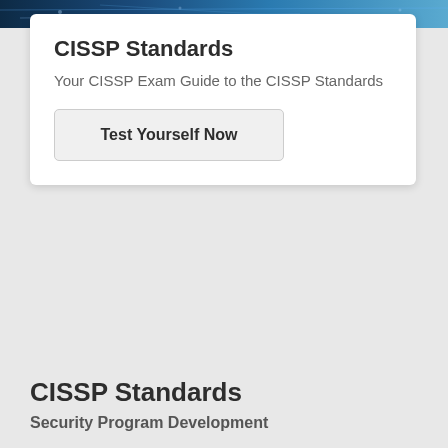[Figure (photo): Blue technology/network background banner at the top of the page]
CISSP Standards
Your CISSP Exam Guide to the CISSP Standards
Test Yourself Now
CISSP Standards
Security Program Development